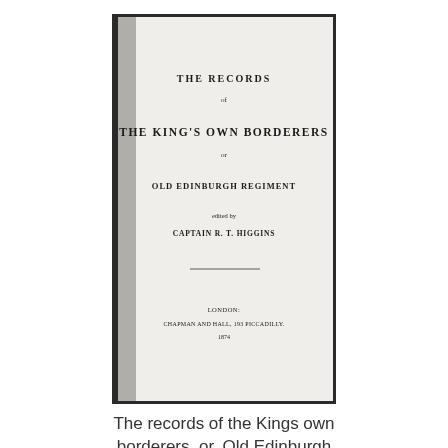[Figure (photo): A photograph of the title page of a book. The title page reads: THE RECORDS of THE KING'S OWN BORDERERS or OLD EDINBURGH REGIMENT edited by CAPTAIN R. T. HIGGINS. LONDON: CHAPMAN AND HALL, 193 PICCADILLY. [date]]
The records of the Kings own borderers, or, Old Edinburgh regiment